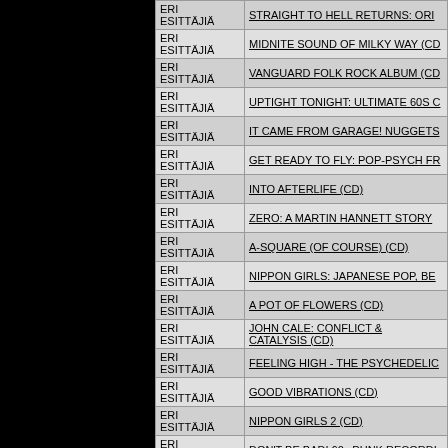| Esittäjä | Title |
| --- | --- |
| ERI ESITTÄJIÄ | STRAIGHT TO HELL RETURNS: ORI |
| ERI ESITTÄJIÄ | MIDNITE SOUND OF MILKY WAY (CD |
| ERI ESITTÄJIÄ | VANGUARD FOLK ROCK ALBUM (CD |
| ERI ESITTÄJIÄ | UPTIGHT TONIGHT: ULTIMATE 60S C |
| ERI ESITTÄJIÄ | IT CAME FROM GARAGE! NUGGETS |
| ERI ESITTÄJIÄ | GET READY TO FLY: POP-PSYCH FR |
| ERI ESITTÄJIÄ | INTO AFTERLIFE (CD) |
| ERI ESITTÄJIÄ | ZERO: A MARTIN HANNETT STORY |
| ERI ESITTÄJIÄ | A-SQUARE (OF COURSE) (CD) |
| ERI ESITTÄJIÄ | NIPPON GIRLS: JAPANESE POP, BE |
| ERI ESITTÄJIÄ | A POT OF FLOWERS (CD) |
| ERI ESITTÄJIÄ | JOHN CALE: CONFLICT & CATALYSIS (CD) |
| ERI ESITTÄJIÄ | FEELING HIGH - THE PSYCHEDELIC |
| ERI ESITTÄJIÄ | GOOD VIBRATIONS (CD) |
| ERI ESITTÄJIÄ | NIPPON GIRLS 2 (CD) |
| ERI ESITTÄJIÄ | DON'T BE BAD! 60s PUNK RECORDI |
| ERI ESITTÄJIÄ | HAPPY LOVIN' TIME: SUNSHINE PO |
| ERI ESITTÄJIÄ | GOLDEN STATE PSYCHEDELIA (CD |